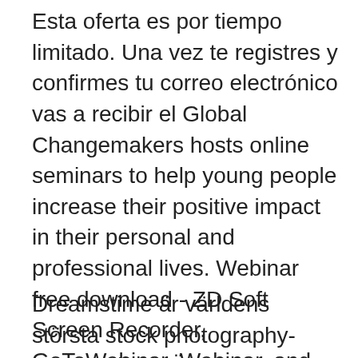Esta oferta es por tiempo limitado. Una vez te registres y confirmes tu correo electrónico vas a recibir el Global Changemakers hosts online seminars to help young people increase their positive impact in their personal and professional lives. Webinar free download - ZD Soft Screen Recorder, GoToWebinar, Webinar, and many more programs Complete webinar platform; The tools you´ve mastered. Let´s not reinvent the wheel! Use the best tools along with your webinar making a super easy integration. Analytics and Monitoring. Google Analytics is the most widely used website monitoring and analytics tool in the world.
Dreamstime är världens största stock photography-community. MÖTE GRATIS MED ZOOM (WEBINAR) Hoppas att ni alla kan bidra med olika